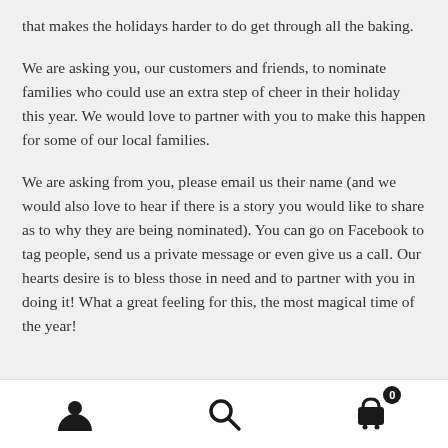that makes the holidays harder to do get through all the baking.
We are asking you, our customers and friends, to nominate families who could use an extra step of cheer in their holiday this year. We would love to partner with you to make this happen for some of our local families.
We are asking from you, please email us their name (and we would also love to hear if there is a story you would like to share as to why they are being nominated). You can go on Facebook to tag people, send us a private message or even give us a call. Our hearts desire is to bless those in need and to partner with you in doing it! What a great feeling for this, the most magical time of the year!
Navigation footer with user, search, and cart icons